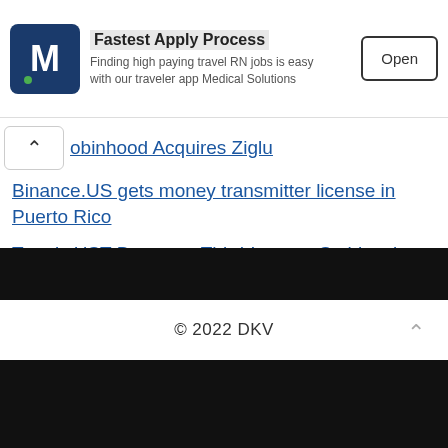[Figure (screenshot): Advertisement banner for Medical Solutions app showing logo with letter M and green dot, title 'Fastest Apply Process', subtitle 'Finding high paying travel RN jobs is easy with our traveler app Medical Solutions', and an Open button]
Robinhood Acquires Ziglu
Binance.US gets money transmitter license in Puerto Rico
Terra's UST Becomes Third-Largest Stablecoin
Global NFT trading volume surges over 200% in 2022
© 2022 DKV